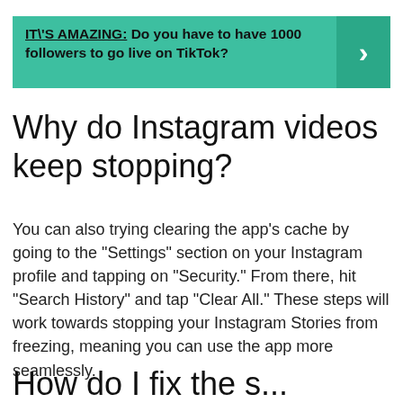[Figure (infographic): Teal/green banner with bold text reading 'IT\'S AMAZING: Do you have to have 1000 followers to go live on TikTok?' with a right-arrow chevron on the right side on a darker teal background]
Why do Instagram videos keep stopping?
You can also trying clearing the app’s cache by going to the “Settings” section on your Instagram profile and tapping on “Security.” From there, hit “Search History” and tap “Clear All.” These steps will work towards stopping your Instagram Stories from freezing, meaning you can use the app more seamlessly.
How do I fix the s...